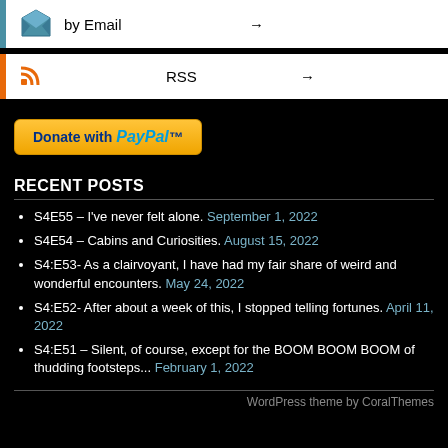[Figure (other): Email subscription bar with envelope icon and right arrow]
[Figure (other): RSS subscription bar with RSS icon and right arrow]
[Figure (other): Donate with PayPal button]
RECENT POSTS
S4E55 – I've never felt alone. September 1, 2022
S4E54 – Cabins and Curiosities. August 15, 2022
S4:E53- As a clairvoyant, I have had my fair share of weird and wonderful encounters. May 24, 2022
S4:E52- After about a week of this, I stopped telling fortunes. April 11, 2022
S4:E51 – Silent, of course, except for the BOOM BOOM BOOM of thudding footsteps... February 1, 2022
WordPress theme by CoralThemes